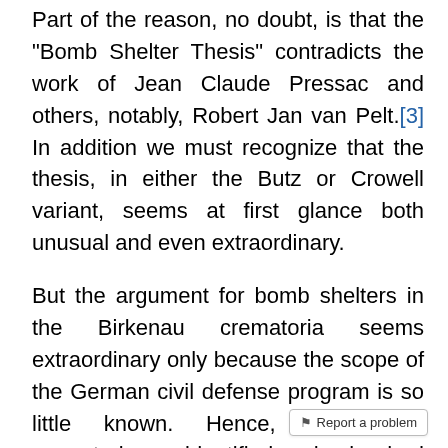Part of the reason, no doubt, is that the "Bomb Shelter Thesis" contradicts the work of Jean Claude Pressac and others, notably, Robert Jan van Pelt.[3] In addition we must recognize that the thesis, in either the Butz or Crowell variant, seems at first glance both unusual and even extraordinary.
But the argument for bomb shelters in the Birkenau crematoria seems extraordinary only because the scope of the German civil defense program is so little known. Hence, when the crematoria are identified as having had gas tight bomb shelters the first reaction of the skeptic will be, why would there be alterations for the crematoria to serve as air raid shelters? Why not other buildings? without